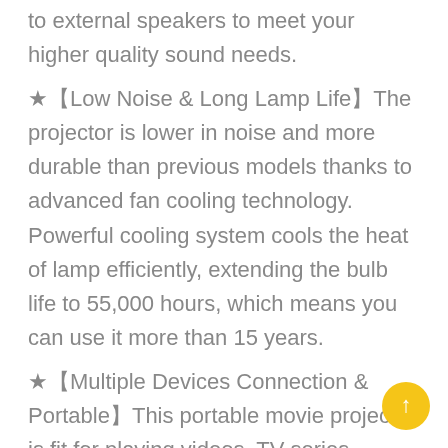to external speakers to meet your higher quality sound needs.
★【Low Noise & Long Lamp Life】The projector is lower in noise and more durable than previous models thanks to advanced fan cooling technology. Powerful cooling system cools the heat of lamp efficiently, extending the bulb life to 55,000 hours, which means you can use it more than 15 years.
★【Multiple Devices Connection & Portable】This portable movie projector is fit for playing videos, TV series, photos sharing, football matches etc. It can be easily